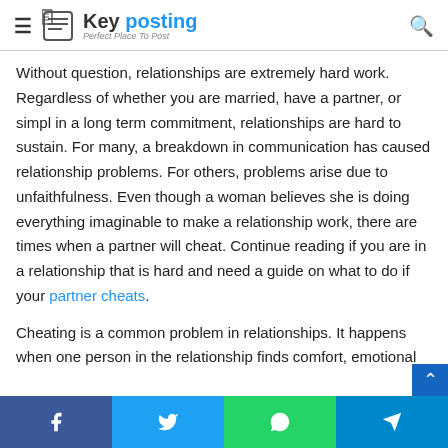Key posting — Perfect Place To Post
Without question, relationships are extremely hard work. Regardless of whether you are married, have a partner, or simpl in a long term commitment, relationships are hard to sustain. For many, a breakdown in communication has caused relationship problems. For others, problems arise due to unfaithfulness. Even though a woman believes she is doing everything imaginable to make a relationship work, there are times when a partner will cheat. Continue reading if you are in a relationship that is hard and need a guide on what to do if your partner cheats.
Cheating is a common problem in relationships. It happens when one person in the relationship finds comfort, emotional
Facebook | Twitter | WhatsApp | Telegram